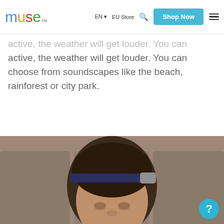muse™  EN ▾  EU Store  🔍  Shop Now  ☰
active, the weather will get louder. You can choose from soundscapes like the beach, rainforest or city park.
[Figure (photo): Person wearing a Muse EEG headband meditation device on their forehead, seated against a grey upholstered wall, wearing earbuds.]